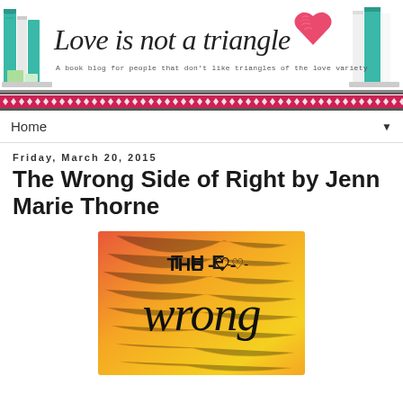[Figure (illustration): Blog header banner for 'Love is not a triangle' book blog, featuring illustrated books on left and right sides, a red heart illustration, cursive script title, and decorative subtitle text]
Home ▼
Friday, March 20, 2015
The Wrong Side of Right by Jenn Marie Thorne
[Figure (photo): Book cover of 'The Wrong Side of Right' with orange/yellow gradient background and handwritten-style text reading 'THE -heart- Wrong']